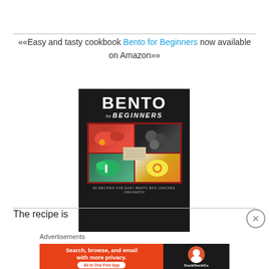««Easy and tasty cookbook Bento for Beginners now available on Amazon»»
[Figure (photo): Book cover of Bento for Beginners cookbook showing food in bento box compartments with title text on dark background]
The recipe is
Advertisements
[Figure (screenshot): DuckDuckGo advertisement banner: Search, browse, and email with more privacy. All in One Free App]